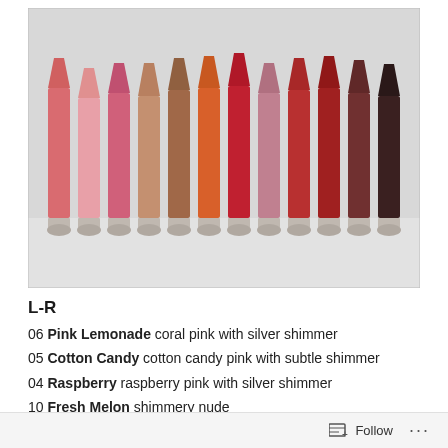[Figure (photo): Row of approximately 12 lipstick tubes in various shades from coral pink to dark brown/black, standing upright with caps off, arranged left to right on a white surface against a light gray background.]
L-R
06 Pink Lemonade coral pink with silver shimmer
05 Cotton Candy cotton candy pink with subtle shimmer
04 Raspberry raspberry pink with silver shimmer
10 Fresh Melon shimmery nude
11 Brown Sugar deeper shimmery nude
Follow ...